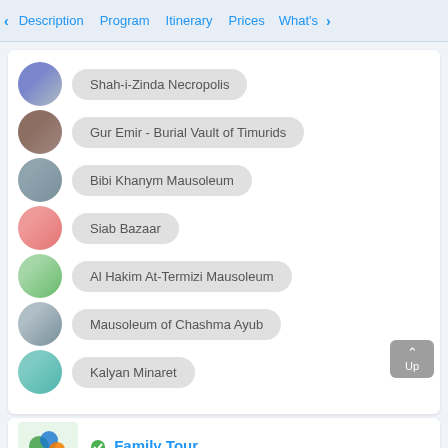Description  Program  Itinerary  Prices  What's
Shah-i-Zinda Necropolis
Gur Emir - Burial Vault of Timurids
Bibi Khanym Mausoleum
Siab Bazaar
Al Hakim At-Termizi Mausoleum
Mausoleum of Chashma Ayub
Kalyan Minaret
Family Tour